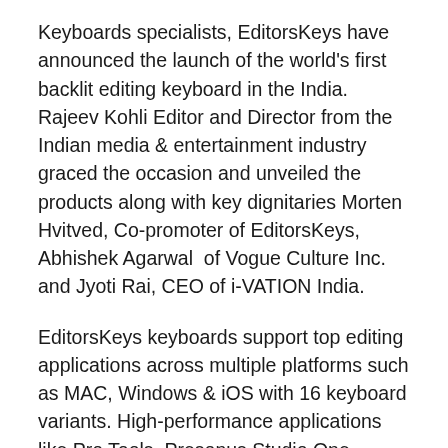Keyboards specialists, EditorsKeys have announced the launch of the world's first backlit editing keyboard in the India. Rajeev Kohli Editor and Director from the Indian media & entertainment industry graced the occasion and unveiled the products along with key dignitaries Morten Hvitved, Co-promoter of EditorsKeys, Abhishek Agarwal of Vogue Culture Inc. and Jyoti Rai, CEO of i-VATION India.
EditorsKeys keyboards support top editing applications across multiple platforms such as MAC, Windows & iOS with 16 keyboard variants. High-performance applications like Pro Tools, Presonus Studio One, Cubase, Ableton Live Keyboard, Sonar X3 Keyboard, Propeller head Reason Keyboard, Keyboard for Adobe Premiere CC, Keyboard for Avid Media Composer, Keyboard for Sony Vegas Pro, Microsoft Flight Simulator X, Photoshop Dedicated Keyboard etc are also supported.
The range of backlit keyboards come with patent pending